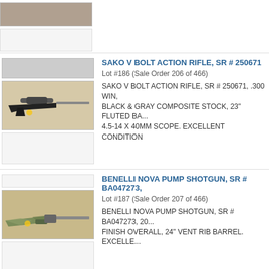[Figure (photo): Top partial listing image - rifle photo cropped, with blank placeholder below]
[Figure (photo): SAKO V bolt action rifle with scope on tan background]
SAKO V BOLT ACTION RIFLE, SR # 250671
Lot #186 (Sale Order 206 of 466)
SAKO V BOLT ACTION RIFLE, SR # 250671, .300 WIN, BLACK & GRAY COMPOSITE STOCK, 23" FLUTED BA... 4.5-14 X 40MM SCOPE. EXCELLENT CONDITION
[Figure (photo): Benelli Nova pump shotgun with camo stock on tan background]
BENELLI NOVA PUMP SHOTGUN, SR # BA047273,
Lot #187 (Sale Order 207 of 466)
BENELLI NOVA PUMP SHOTGUN, SR # BA047273, 20... FINISH OVERALL, 24" VENT RIB BARREL. EXCELLE...